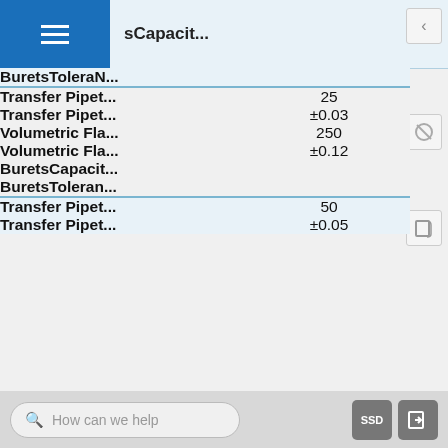BuretsCapacit... (hamburger menu header)
| Label | Value |
| --- | --- |
| BuretsToleraN... |  |
| Transfer Pipet... | 25 |
| Transfer Pipet... | ±0.03 |
| Volumetric Fla... | 250 |
| Volumetric Fla... | ±0.12 |
| BuretsCapacit... |  |
| BuretsToleran... |  |
| Transfer Pipet... | 50 |
| Transfer Pipet... | ±0.05 |
How can we help  SSD